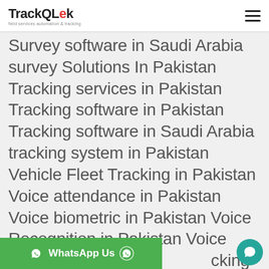TrackQLek - field services automation & tracking
Survey software in Saudi Arabia survey Solutions In Pakistan Tracking services in Pakistan Tracking software in Pakistan Tracking software in Saudi Arabia tracking system in Pakistan Vehicle Fleet Tracking in Pakistan Voice attendance in Pakistan Voice biometric in Pakistan Voice Recognition in Pakistan Voice Software in Saudi ...cking in Pakista
WhatsApp Us